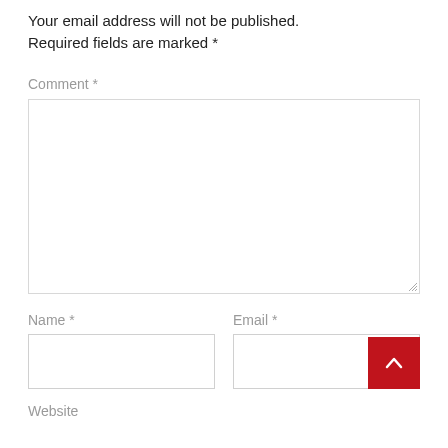Your email address will not be published. Required fields are marked *
Comment *
[Figure (other): Empty comment textarea input box with resize handle]
Name *
Email *
[Figure (other): Empty Name text input field]
[Figure (other): Empty Email text input field with red back-to-top button overlay]
Website